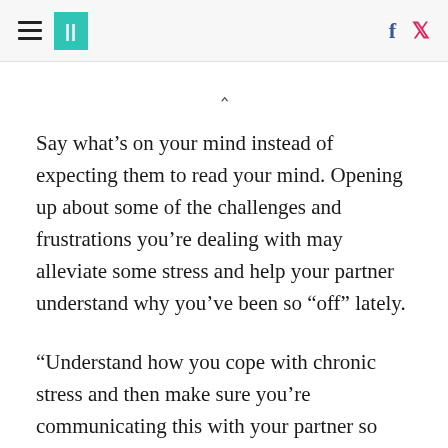HuffPost navigation header with hamburger menu, logo, Facebook and Twitter icons
^
Say what’s on your mind instead of expecting them to read your mind. Opening up about some of the challenges and frustrations you’re dealing with may alleviate some stress and help your partner understand why you’ve been so “off” lately.
“Understand how you cope with chronic stress and then make sure you’re communicating this with your partner so you can be supported,” Chappell Marsh said. “The most common responses to job burnout are to withdraw and stop communicating or to act out negative emotions by taking your frustrations out on